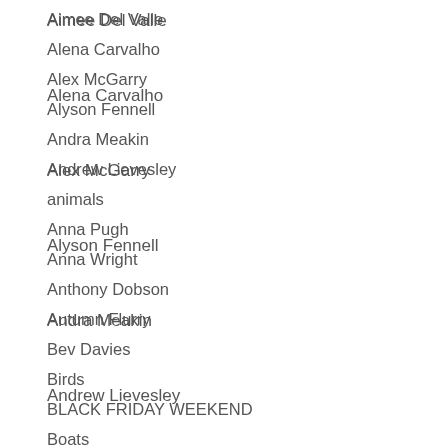Aimee Del Valle
Alena Carvalho
Alex McGarry
Alyson Fennell
Andra Meakin
Andrew Lievesley
animals
Anna Pugh
Anna Wright
Anthony Dobson
Autumn Flurry
Bev Davies
Birds
BLACK FRIDAY WEEKEND
Boats